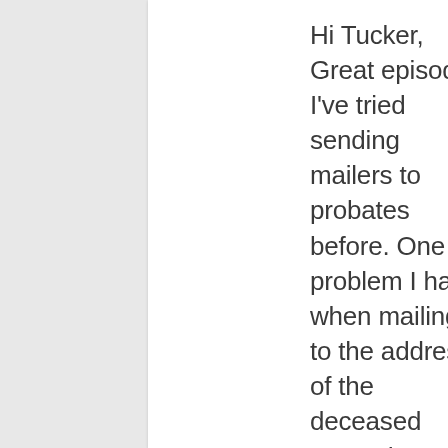Hi Tucker, Great episode! I've tried sending mailers to probates before. One problem I had when mailing to the address of the deceased person's property is getting a phone call from random